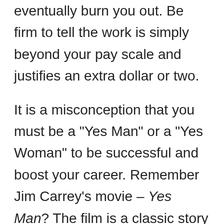eventually burn you out. Be firm to tell the work is simply beyond your pay scale and justifies an extra dollar or two.
It is a misconception that you must be a "Yes Man" or a "Yes Woman" to be successful and boost your career. Remember Jim Carrey's movie – Yes Man? The film is a classic story where the protagonist is encouraged and made to promise to answer "Yes!" to every opportunity, request, or invitation that presents itself. After a series of interesting events in his life, however, it is that the person to accept and